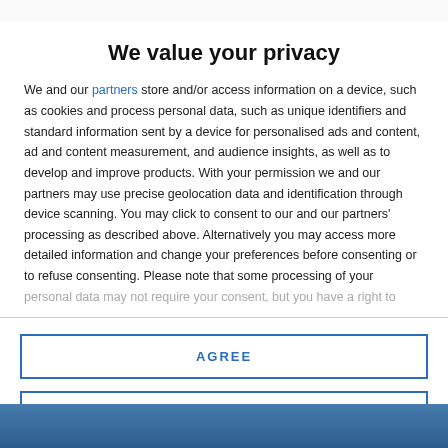We value your privacy
We and our partners store and/or access information on a device, such as cookies and process personal data, such as unique identifiers and standard information sent by a device for personalised ads and content, ad and content measurement, and audience insights, as well as to develop and improve products. With your permission we and our partners may use precise geolocation data and identification through device scanning. You may click to consent to our and our partners' processing as described above. Alternatively you may access more detailed information and change your preferences before consenting or to refuse consenting. Please note that some processing of your personal data may not require your consent, but you have a right to
AGREE
MORE OPTIONS
[Figure (photo): Background image at bottom of page, partially visible]